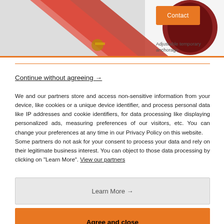[Figure (photo): Product image showing red adjustable straps/anchorage equipment with a Contact button overlay]
Adjustable temporary anchorage
Continue without agreeing →
We and our partners store and access non-sensitive information from your device, like cookies or a unique device identifier, and process personal data like IP addresses and cookie identifiers, for data processing like displaying personalized ads, measuring preferences of our visitors, etc. You can change your preferences at any time in our Privacy Policy on this website.
Some partners do not ask for your consent to process your data and rely on their legitimate business interest. You can object to those data processing by clicking on "Learn More". View our partners
Learn More →
Agree and close